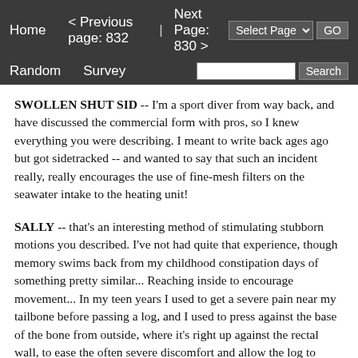Home   < Previous page: 832  |  Next Page: 830 >   Random   Survey   Select Page ▾   GO   Search
SWOLLEN SHUT SID -- I'm a sport diver from way back, and have discussed the commercial form with pros, so I knew everything you were describing. I meant to write back ages ago but got sidetracked -- and wanted to say that such an incident really, really encourages the use of fine-mesh filters on the seawater intake to the heating unit!
SALLY -- that's an interesting method of stimulating stubborn motions you described. I've not had quite that experience, though memory swims back from my childhood constipation days of something pretty similar... Reaching inside to encourage movement... In my teen years I used to get a severe pain near my tailbone before passing a log, and I used to press against the base of the bone from outside, where it's right up against the rectal wall, to ease the often severe discomfort and allow the log to move through. That troubled me for years, but then simple disappeared and